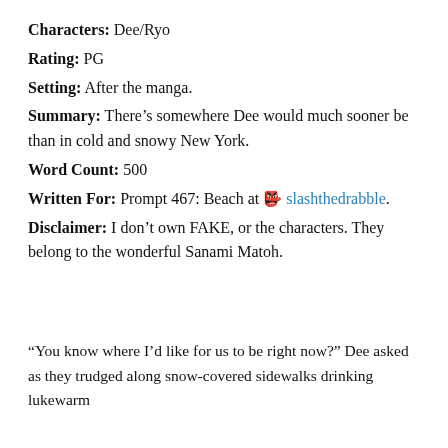Characters: Dee/Ryo
Rating: PG
Setting: After the manga.
Summary: There's somewhere Dee would much sooner be than in cold and snowy New York.
Word Count: 500
Written For: Prompt 467: Beach at slashthedrabble.
Disclaimer: I don't own FAKE, or the characters. They belong to the wonderful Sanami Matoh.
“You know where I’d like for us to be right now?” Dee asked as they trudged along snow-covered sidewalks drinking lukewarm